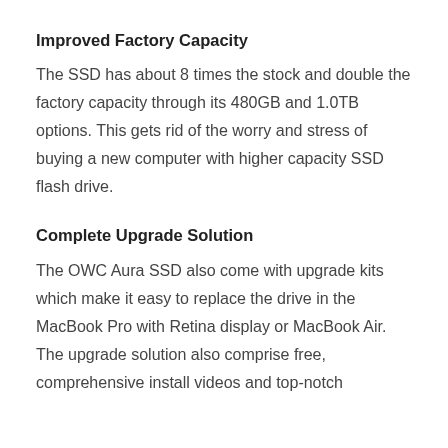Improved Factory Capacity
The SSD has about 8 times the stock and double the factory capacity through its 480GB and 1.0TB options. This gets rid of the worry and stress of buying a new computer with higher capacity SSD flash drive.
Complete Upgrade Solution
The OWC Aura SSD also come with upgrade kits which make it easy to replace the drive in the MacBook Pro with Retina display or MacBook Air. The upgrade solution also comprise free, comprehensive install videos and top-notch